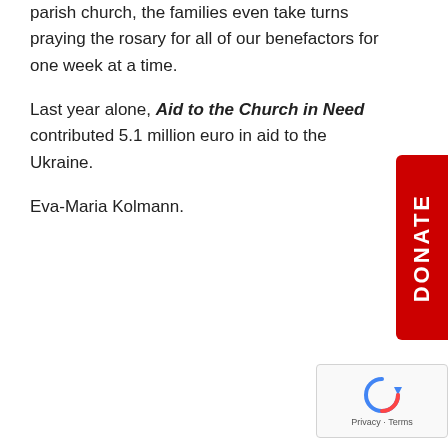parish church, the families even take turns praying the rosary for all of our benefactors for one week at a time.
Last year alone, Aid to the Church in Need contributed 5.1 million euro in aid to the Ukraine.
Eva-Maria Kolmann.
[Figure (other): Red DONATE button on the right side of the page, rotated vertically]
[Figure (other): Google reCAPTCHA widget in bottom right corner with Privacy and Terms links]